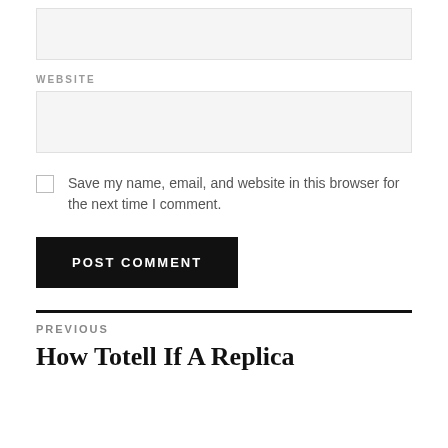(input box - top, unlabeled)
WEBSITE
(website input box)
Save my name, email, and website in this browser for the next time I comment.
POST COMMENT
PREVIOUS
How Totell If A Replica